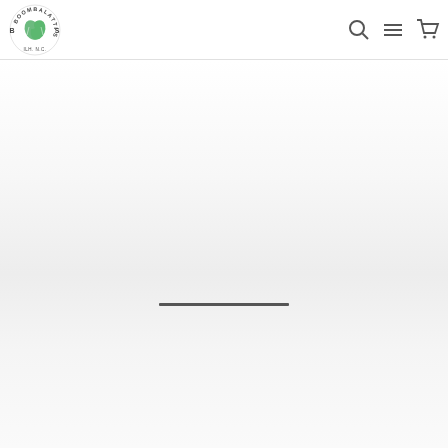[Figure (logo): Boombalatti's logo with green heart/leaf shape and circular text reading BOOMBALATTI'S ILH, N.C.]
[Figure (screenshot): Navigation bar with search icon, hamburger menu icon, and shopping cart icon on the right side]
[Figure (screenshot): Main content area with light gray gradient background and a dark horizontal loading/progress bar centered in the lower-middle portion]